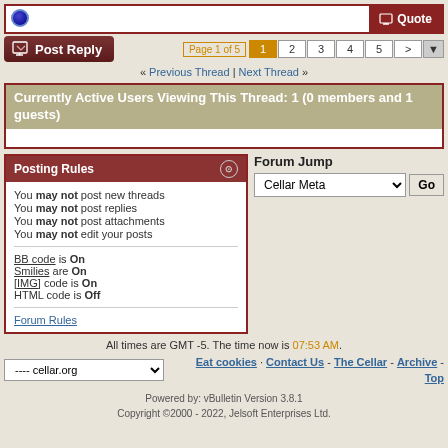[Figure (screenshot): Forum top bar with circle icon and Quote button]
[Figure (screenshot): Post Reply button and pagination showing Page 1 of 5]
« Previous Thread | Next Thread »
Currently Active Users Viewing This Thread: 1 (0 members and 1 guests)
Posting Rules
You may not post new threads
You may not post replies
You may not post attachments
You may not edit your posts
BB code is On
Smilies are On
[IMG] code is On
HTML code is Off
Forum Rules
Forum Jump
All times are GMT -5. The time now is 07:53 AM.
Eat cookies · Contact Us - The Cellar - Archive - Top
Powered by: vBulletin Version 3.8.1
Copyright ©2000 - 2022, Jelsoft Enterprises Ltd.